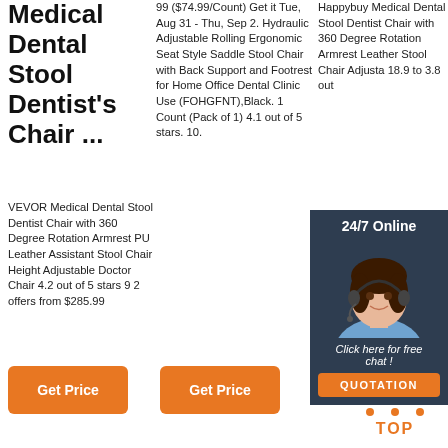Medical Dental Stool Dentist's Chair ...
VEVOR Medical Dental Stool Dentist Chair with 360 Degree Rotation Armrest PU Leather Assistant Stool Chair Height Adjustable Doctor Chair 4.2 out of 5 stars 9 2 offers from $285.99
99 ($74.99/Count) Get it Tue, Aug 31 - Thu, Sep 2. Hydraulic Adjustable Rolling Ergonomic Seat Style Saddle Stool Chair with Back Support and Footrest for Home Office Dental Clinic Use (FOHGFNT),Black. 1 Count (Pack of 1) 4.1 out of 5 stars. 10.
Happybuy Medical Dental Stool Dentist Chair with 360 Degree Rotation Armrest Leather Stool Chair Adjustable 18.9 to 3.8 out
[Figure (photo): Customer service representative with headset, 24/7 Online chat overlay with orange QUOTATION button]
Get Price (button, col 1)
Get Price (button, col 2)
[Figure (other): TOP icon with orange dots arranged in triangle above the word TOP]